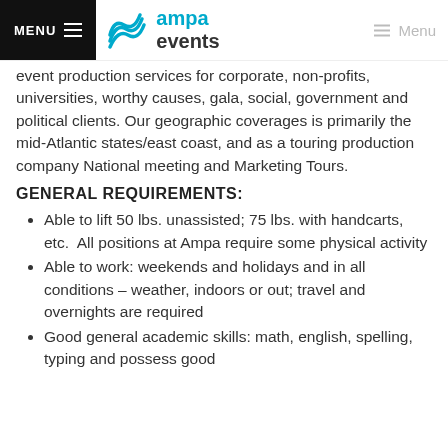MENU | ampa events | Menu
event production services for corporate, non-profits, universities, worthy causes, gala, social, government and political clients. Our geographic coverages is primarily the mid-Atlantic states/east coast, and as a touring production company National meeting and Marketing Tours.
GENERAL REQUIREMENTS:
Able to lift 50 lbs. unassisted; 75 lbs. with handcarts, etc.  All positions at Ampa require some physical activity
Able to work: weekends and holidays and in all conditions – weather, indoors or out; travel and overnights are required
Good general academic skills: math, english, spelling, typing and possess good